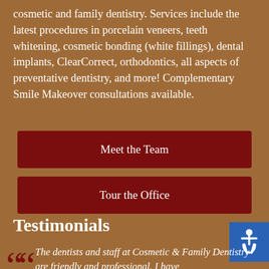cosmetic and family dentistry. Services include the latest procedures in porcelain veneers, teeth whitening, cosmetic bonding (white fillings), dental implants, ClearCorrect, orthodontics, all aspects of preventative dentistry, and more! Complementary Smile Makeover consultations available.
[Figure (other): Dark red button labeled 'Meet the Team']
[Figure (other): Dark red button labeled 'Tour the Office']
[Figure (other): Blue accessibility icon badge in bottom right corner]
Testimonials
The dentists and staff at Cosmetic & Family Dentistry are friendly and professional. I have